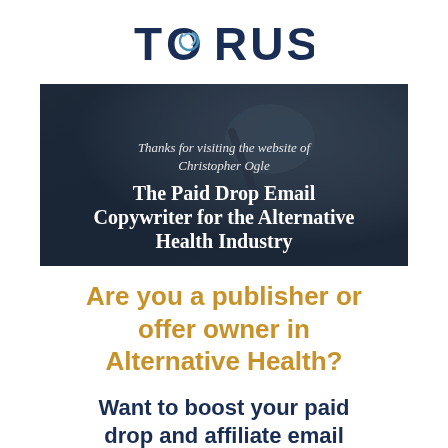[Figure (logo): TORUS logo with swirl graphic on the letter O, dark navy text]
[Figure (photo): Hero image with dark blurred background of a hand writing, overlaid with white text reading 'Thanks for visiting the website of Christopher Ogle' and 'The Paid Drop Email Copywriter for the Alternative Health Industry']
Are you a publisher or offer owner in Alternative Health?
Want to boost your paid drop and affiliate email revenue with new high-